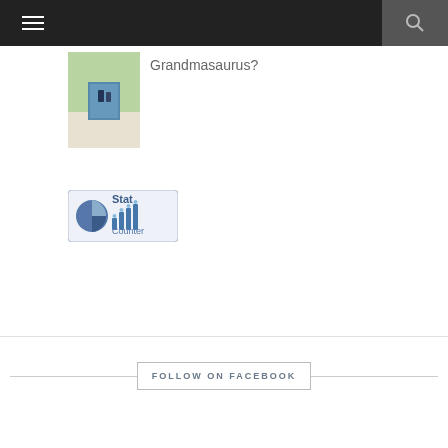[Figure (screenshot): Website navigation bar with hamburger menu icon on left and search icon on right, dark background]
[Figure (photo): Thumbnail photo of a book or gift item on an outdoor table with green plants in background]
Grandmasaurus?
[Figure (logo): StatCounter logo badge with pie chart icon and bar chart icon]
FOLLOW ON FACEBOOK